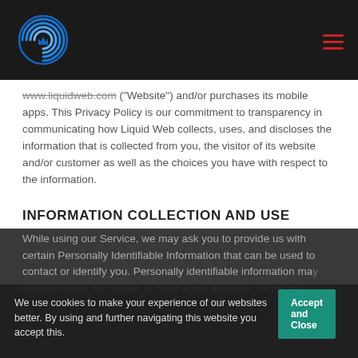Liquid Web logo and navigation
... www.liquidweb.com ("Website") and/or purchases its mobile apps. This Privacy Policy is our commitment to transparency in communicating how Liquid Web collects, uses, and discloses the information that is collected from you, the visitor of its website and/or customer as well as the choices you have with respect to the information.
INFORMATION COLLECTION AND USE
While using our Service, we may ask you to provide us with certain Personally Identifiable Information that can be used to contact or identify you. Personally identifiable information may include, but is not limited to, your email address, name and
We use cookies to make your experience of our websites better. By using and further navigating this website you accept this.
Accept and Close